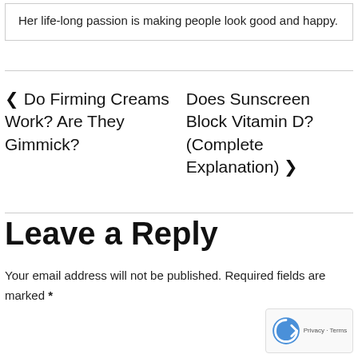Her life-long passion is making people look good and happy.
‹ Do Firming Creams Work? Are They Gimmick?
Does Sunscreen Block Vitamin D? (Complete Explanation) ›
Leave a Reply
Your email address will not be published. Required fields are marked *